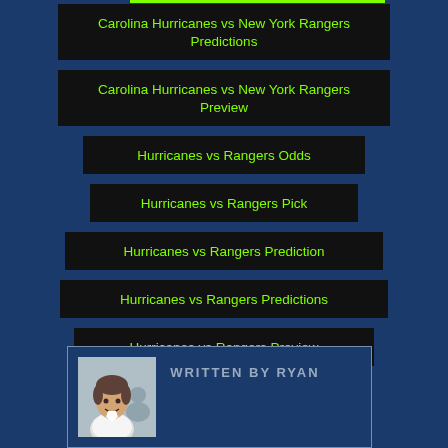Carolina Hurricanes vs New York Rangers Predictions
Carolina Hurricanes vs New York Rangers Preview
Hurricanes vs Rangers Odds
Hurricanes vs Rangers Pick
Hurricanes vs Rangers Prediction
Hurricanes vs Rangers Predictions
Hurricanes vs Rangers Preview
NHL Betting
NHL odds
WRITTEN BY RYAN